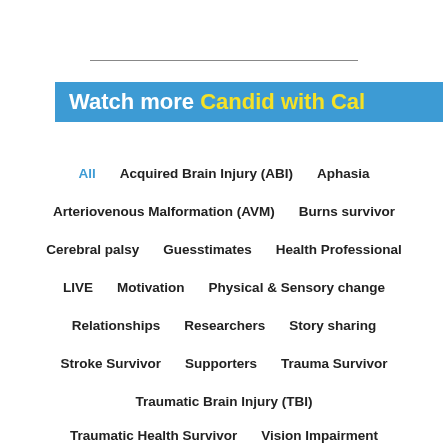[Figure (other): Horizontal divider line near top of page]
Watch more Candid with Cal
All
Acquired Brain Injury (ABI)
Aphasia
Arteriovenous Malformation (AVM)
Burns survivor
Cerebral palsy
Guesstimates
Health Professional
LIVE
Motivation
Physical & Sensory change
Relationships
Researchers
Story sharing
Stroke Survivor
Supporters
Trauma Survivor
Traumatic Brain Injury (TBI)
Traumatic Health Survivor
Vision Impairment